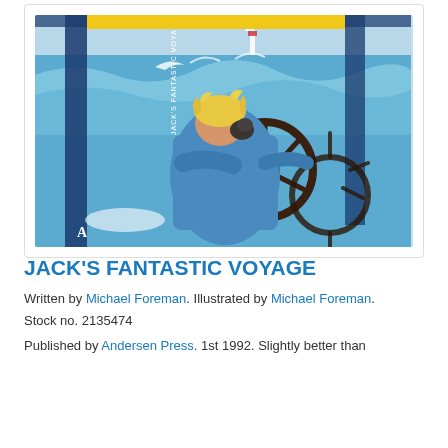[Figure (photo): Book cover of 'Jack's Fantastic Voyage' showing a child with blonde hair seen from behind, steering a ship's wheel, with blue ocean waves and a lighthouse in the background. The book is shown at an angle as a hardcover.]
JACK'S FANTASTIC VOYAGE
Written by Michael Foreman. Illustrated by Michael Foreman. Stock no. 2135474
Published by Andersen Press. 1st 1992. Slightly better than